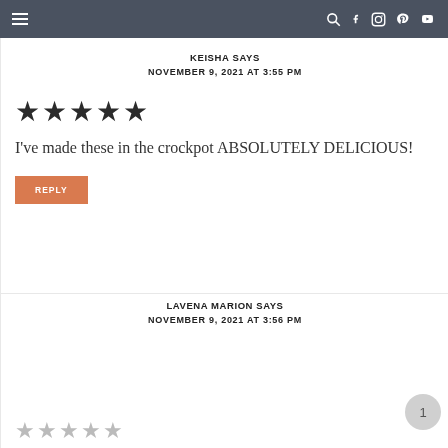Navigation bar with hamburger menu and social icons
KEISHA SAYS
NOVEMBER 9, 2021 AT 3:55 PM
[Figure (other): 5 filled black stars (5-star rating)]
I've made these in the crockpot ABSOLUTELY DELICIOUS!
REPLY
LAVENA MARION SAYS
NOVEMBER 9, 2021 AT 3:56 PM
[Figure (other): 5 empty/outlined gray stars (star rating, no stars filled)]